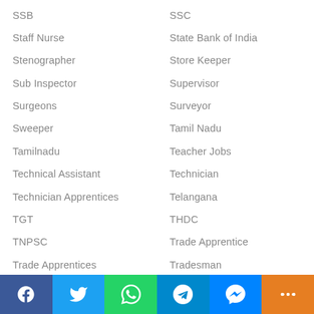SSB
SSC
Staff Nurse
State Bank of India
Stenographer
Store Keeper
Sub Inspector
Supervisor
Surgeons
Surveyor
Sweeper
Tamil Nadu
Tamilnadu
Teacher Jobs
Technical Assistant
Technician
Technician Apprentices
Telangana
TGT
THDC
TNPSC
Trade Apprentice
Trade Apprentices
Tradesman
Trainee Engineer
Trainee Govt Jobs
[Figure (infographic): Social media share bar with Facebook, Twitter, WhatsApp, Telegram, Messenger, and More buttons]